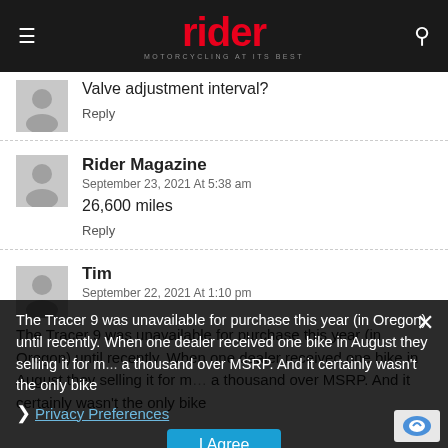rider — MOTORCYCLING AT ITS BEST
Valve adjustment interval?
Reply
Rider Magazine
September 23, 2021 At 5:38 am
26,600 miles
Reply
Tim
September 22, 2021 At 1:10 pm
The Tracer 9 was unavailable for purchase this year (in Oregon) until recently. When one dealer received one bike in August they selling it for m... a thousand over MSRP. And it certainly wasn't the only bike
Privacy Preferences
I Agree